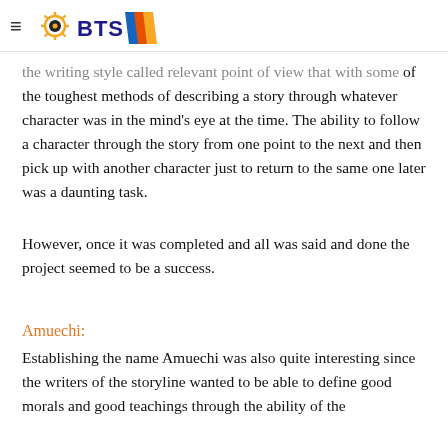≡ BTS
the writing style called relevant point of view that with some of the toughest methods of describing a story through whatever character was in the mind's eye at the time. The ability to follow a character through the story from one point to the next and then pick up with another character just to return to the same one later was a daunting task.
However, once it was completed and all was said and done the project seemed to be a success.
Amuechi:
Establishing the name Amuechi was also quite interesting since the writers of the storyline wanted to be able to define good morals and good teachings through the ability of the